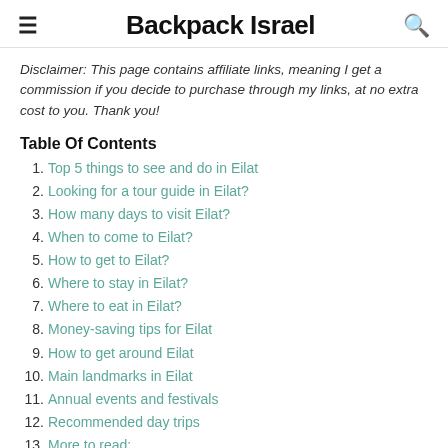Backpack Israel
Disclaimer: This page contains affiliate links, meaning I get a commission if you decide to purchase through my links, at no extra cost to you. Thank you!
Table Of Contents
1. Top 5 things to see and do in Eilat
2. Looking for a tour guide in Eilat?
3. How many days to visit Eilat?
4. When to come to Eilat?
5. How to get to Eilat?
6. Where to stay in Eilat?
7. Where to eat in Eilat?
8. Money-saving tips for Eilat
9. How to get around Eilat
10. Main landmarks in Eilat
11. Annual events and festivals
12. Recommended day trips
13. More to read: